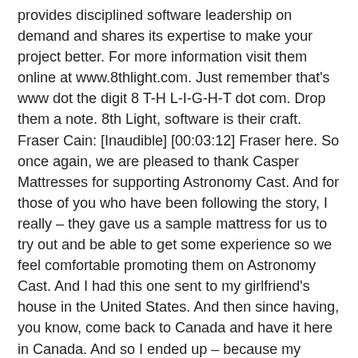provides disciplined software leadership on demand and shares its expertise to make your project better. For more information visit them online at www.8thlight.com. Just remember that's www dot the digit 8 T-H L-I-G-H-T dot com. Drop them a note. 8th Light, software is their craft.
Fraser Cain: [Inaudible] [00:03:12] Fraser here. So once again, we are pleased to thank Casper Mattresses for supporting Astronomy Cast. And for those of you who have been following the story, I really – they gave us a sample mattress for us to try out and be able to get some experience so we feel comfortable promoting them on Astronomy Cast. And I had this one sent to my girlfriend's house in the United States. And then since having, you know, come back to Canada and have it here in Canada. And so I ended up – because my mattress – my king size mattress was falling apart. So I ordered another one, my own money. So I'm not sure who's